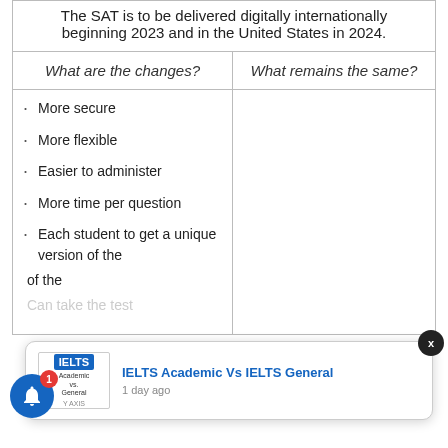The SAT is to be delivered digitally internationally beginning 2023 and in the United States in 2024.
| What are the changes? | What remains the same? |
| --- | --- |
| · More secure
· More flexible
· Easier to administer
· More time per question
· Each student to get a unique version of the...
· Can take the test... |  |
[Figure (infographic): Browser notification popup showing 'IELTS Academic Vs IELTS General' with IELTS logo and '1 day ago' timestamp, with a close X button and a blue notification bell icon with badge showing 1]